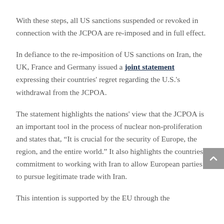With these steps, all US sanctions suspended or revoked in connection with the JCPOA are re-imposed and in full effect.
In defiance to the re-imposition of US sanctions on Iran, the UK, France and Germany issued a joint statement expressing their countries' regret regarding the U.S.'s withdrawal from the JCPOA.
The statement highlights the nations' view that the JCPOA is an important tool in the process of nuclear non-proliferation and states that, “It is crucial for the security of Europe, the region, and the entire world.” It also highlights the countries' commitment to working with Iran to allow European parties to pursue legitimate trade with Iran.
This intention is supported by the EU through the